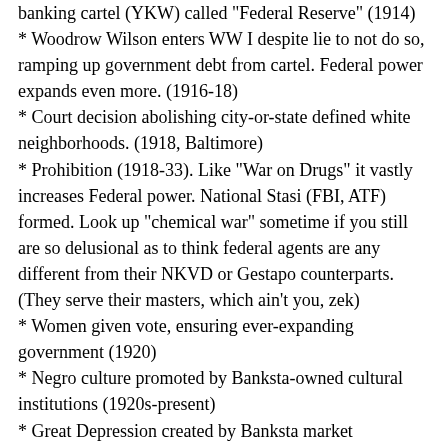banking cartel (YKW) called "Federal Reserve" (1914)
* Woodrow Wilson enters WW I despite lie to not do so, ramping up government debt from cartel. Federal power expands even more. (1916-18)
* Court decision abolishing city-or-state defined white neighborhoods. (1918, Baltimore)
* Prohibition (1918-33). Like "War on Drugs" it vastly increases Federal power. National Stasi (FBI, ATF) formed. Look up "chemical war" sometime if you still are so delusional as to think federal agents are any different from their NKVD or Gestapo counterparts. (They serve their masters, which ain't you, zek)
* Women given vote, ensuring ever-expanding government (1920)
* Negro culture promoted by Banksta-owned cultural institutions (1920s-present)
* Great Depression created by Banksta market manipulation (1929-40)
* Gold Confiscation by Executive Order (1933)
* National Firearms Act (1934), seriously damages 2nd